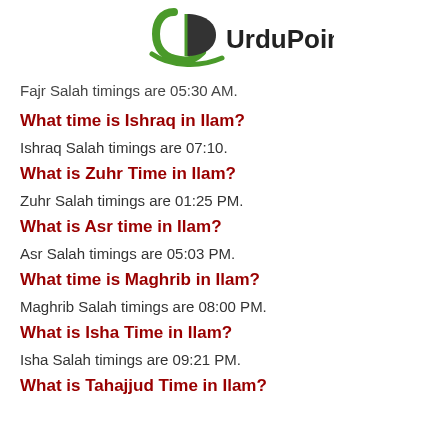[Figure (logo): UrduPoint logo with green and dark stylized U-D letters and black UrduPoint text]
Fajr Salah timings are 05:30 AM.
What time is Ishraq in Ilam?
Ishraq Salah timings are 07:10.
What is Zuhr Time in Ilam?
Zuhr Salah timings are 01:25 PM.
What is Asr time in Ilam?
Asr Salah timings are 05:03 PM.
What time is Maghrib in Ilam?
Maghrib Salah timings are 08:00 PM.
What is Isha Time in Ilam?
Isha Salah timings are 09:21 PM.
What is Tahajjud Time in Ilam?